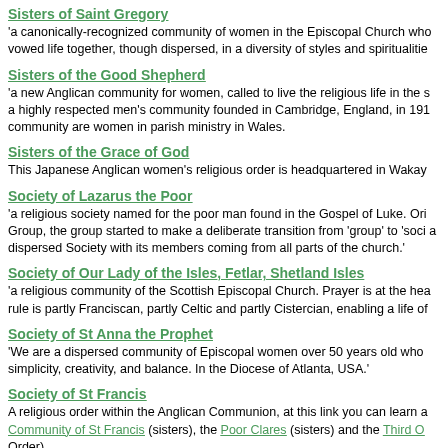Sisters of Saint Gregory
'a canonically-recognized community of women in the Episcopal Church who vowed life together, though dispersed, in a diversity of styles and spiritualities
Sisters of the Good Shepherd
'a new Anglican community for women, called to live the religious life in the s a highly respected men's community founded in Cambridge, England, in 191 community are women in parish ministry in Wales.
Sisters of the Grace of God
This Japanese Anglican women's religious order is headquartered in Wakay
Society of Lazarus the Poor
'a religious society named for the poor man found in the Gospel of Luke. Ori Group, the group started to make a deliberate transition from 'group' to 'soci a dispersed Society with its members coming from all parts of the church.'
Society of Our Lady of the Isles, Fetlar, Shetland Isles
'a religious community of the Scottish Episcopal Church. Prayer is at the hea rule is partly Franciscan, partly Celtic and partly Cistercian, enabling a life of
Society of St Anna the Prophet
'We are a dispersed community of Episcopal women over 50 years old who simplicity, creativity, and balance. In the Diocese of Atlanta, USA.'
Society of St Francis
A religious order within the Anglican Communion, at this link you can learn a Community of St Francis (sisters), the Poor Clares (sisters) and the Third O Order).